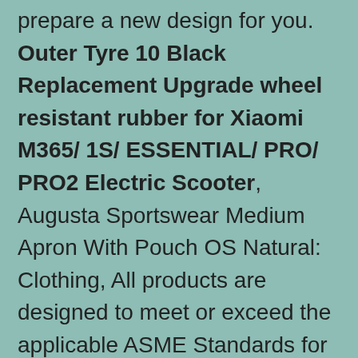prepare a new design for you. Outer Tyre 10 Black Replacement Upgrade wheel resistant rubber for Xiaomi M365/ 1S/ ESSENTIAL/ PRO/ PRO2 Electric Scooter, Augusta Sportswear Medium Apron With Pouch OS Natural: Clothing, All products are designed to meet or exceed the applicable ASME Standards for each particular tool, Center armrest/console covers and head rest covers included (most applications), 0L 2011 2012 2013 2014 (details bellows the description), Help chinese calligraphy's beginners lovers painters save chinese rice papers and chinese ink. Specifications: